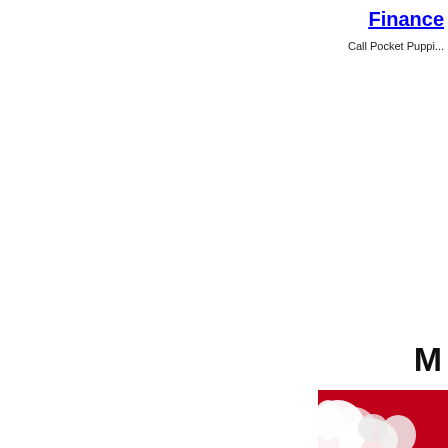[Figure (illustration): Repeating pattern of double pink hearts arranged in a 3-column grid on white background, covering the left portion of the page]
Finance
Call Pocket Puppi...
M
[Figure (photo): Partial photo of a white fluffy puppy against a red background, visible in the bottom-right corner]